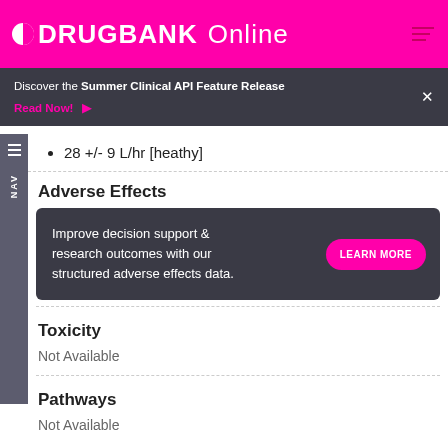DRUGBANK Online
Discover the Summer Clinical API Feature Release Read Now!
28 +/- 9 L/hr [heathy]
Adverse Effects
[Figure (infographic): Dark banner ad: 'Improve decision support & research outcomes with our structured adverse effects data.' with a pink 'LEARN MORE' button]
Toxicity
Not Available
Pathways
Not Available